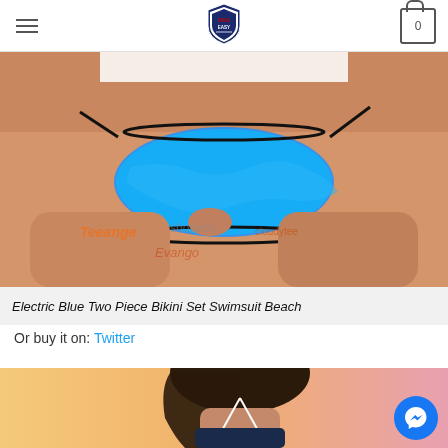USA EASY logo, hamburger menu, cart icon with 0
[Figure (photo): Woman wearing electric blue bikini bottom with black ties, watermarked product photo showing lower torso and thighs with tattoo-style watermarks including 'cloudytee' and other store logos]
Electric Blue Two Piece Bikini Set Swimsuit Beach
Or buy it on: Twitter
[Figure (photo): Woman in halter-neck swimsuit against warm sunset background, upper body visible, with Messenger chat button overlay in bottom right]